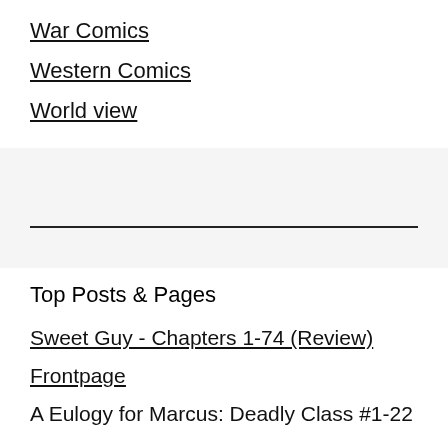War Comics
Western Comics
World view
Top Posts & Pages
Sweet Guy - Chapters 1-74 (Review)
Frontpage
A Eulogy for Marcus: Deadly Class #1-22